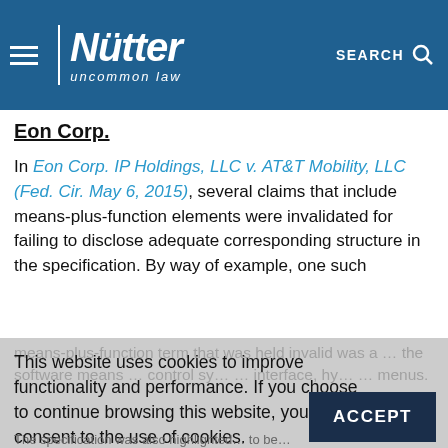Nutter — uncommon law
Eon Corp.
In Eon Corp. IP Holdings, LLC v. AT&T Mobility, LLC (Fed. Cir. May 6, 2015), several claims that include means-plus-function elements were invalidated for failing to disclose adequate corresponding structure in the specification. By way of example, one such
This website uses cookies to improve functionality and performance. If you choose to continue browsing this website, you consent to the use of cookies.